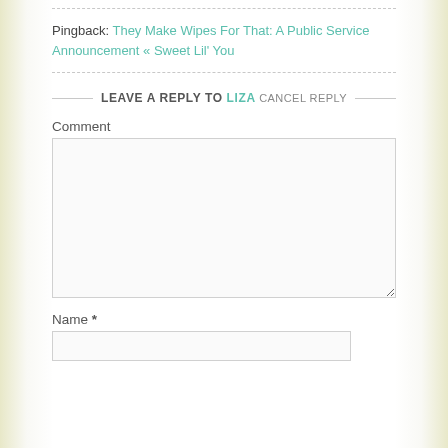Pingback: They Make Wipes For That: A Public Service Announcement « Sweet Lil' You
LEAVE A REPLY TO LIZA CANCEL REPLY
Comment
Name *